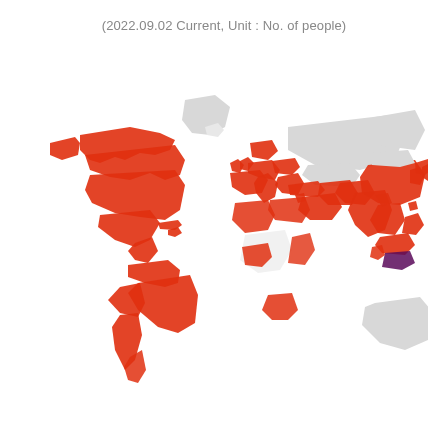(2022.09.02 Current, Unit : No. of people)
[Figure (map): World map with countries highlighted in red/orange indicating presence of people. North America, most of South America, Western Europe, parts of Middle East, South Asia, Southeast Asia, and East Asia (China) are highlighted in red. Some regions in Southeast Asia appear in dark purple. Russia, Canada (partially), Greenland, Central Asia, and Australia appear in light gray (no data or zero).]